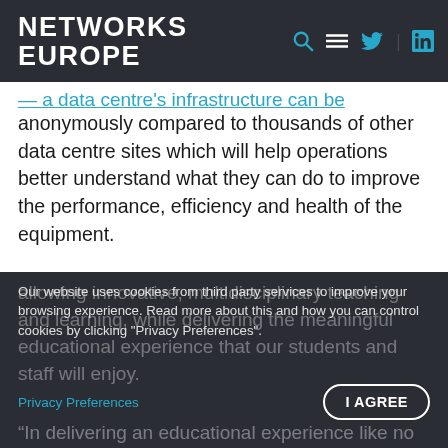NETWORKS EUROPE
anonymously compared to thousands of other data centre sites which will help operations better understand what they can do to improve the performance, efficiency and health of the equipment.
Professor David Sadler, Provost at the University of Birmingham Dubai, commented, “Our new building has been designed as a ‘Smart Campus’ – embedded with flexible, cutting-edge technology
allowing innovative, multidisciplinary teaching and learning, while delivering the meaningful educational experience that our students and staff will enjoy.
Our website uses cookies from third party services to improve your browsing experience. Read more about this and how you can control cookies by clicking "Privacy Preferences".
Privacy Preferences
I AGREE
“In delivering an educational experience like no